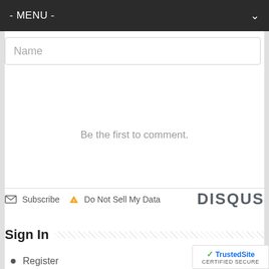- MENU -
Name
Be the first to comment.
Subscribe   Do Not Sell My Data   DISQUS
Sign In
Register
Log in
Entries feed
Comments feed
WordPress.org
[Figure (logo): TrustedSite Certified Secure badge]